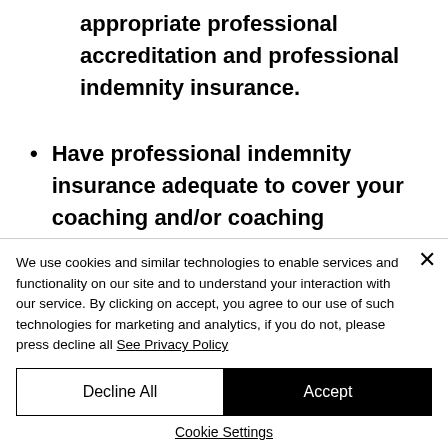appropriate professional accreditation and professional indemnity insurance.
Have professional indemnity insurance adequate to cover your coaching and/or coaching supervision practice.
We use cookies and similar technologies to enable services and functionality on our site and to understand your interaction with our service. By clicking on accept, you agree to our use of such technologies for marketing and analytics, if you do not, please press decline all See Privacy Policy
Decline All
Accept
Cookie Settings